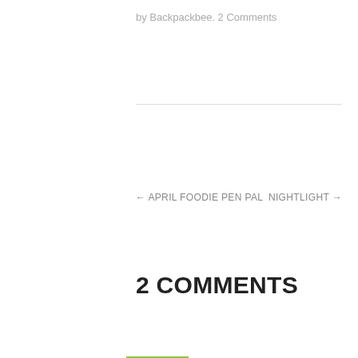by Backpackbee. 2 Comments
← APRIL FOODIE PEN PAL
NIGHTLIGHT →
2 COMMENTS
Megan benfield
May 16, 2013 at 23:41
Hi! I would like to say that this actually was not the first time it's been held in Korea. I brought the first Relay for Life event to Korea in 2010 at Camp Walker in Daegu with the support of my bN commander and CSM. My hometown of